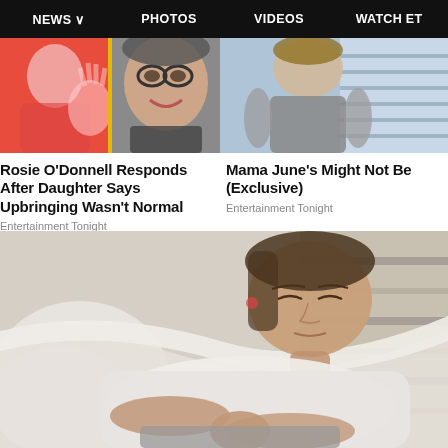NEWS ∨   PHOTOS   VIDEOS   WATCH ET
[Figure (photo): Two-panel image strip: left panel shows a person in red with translucent hand, center panel shows close-up of a woman with glasses smiling]
Rosie O'Donnell Responds After Daughter Says Upbringing Wasn't Normal
Entertainment Tonight
[Figure (photo): Right panel thumbnail: person in grey shirt from behind near window blinds]
Mama June's Might Not Be (Exclusive)
Entertainment Tonight
[Figure (photo): Large photo of a woman lying on a couch/bed in a white t-shirt and grey shorts, eyes closed, resting on striped cushions]